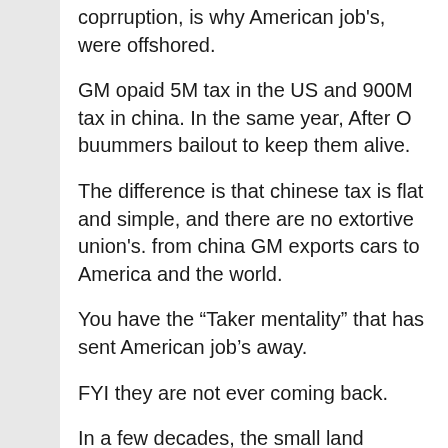coprruption, is why American job's, were offshored.
GM opaid 5M tax in the US and 900M tax in china. In the same year, After O buummers bailout to keep them alive.
The difference is that chinese tax is flat and simple, and there are no extortive union's. from china GM exports cars to America and the world.
You have the “Taker mentality” that has sent American job’s away.
FYI they are not ever coming back.
In a few decades, the small land owning farmer, everybody in the city currently